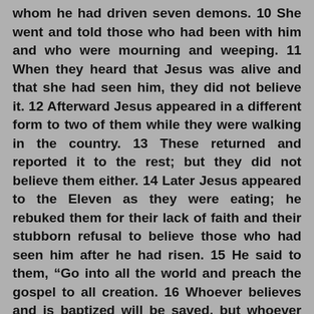whom he had driven seven demons. 10 She went and told those who had been with him and who were mourning and weeping. 11 When they heard that Jesus was alive and that she had seen him, they did not believe it. 12 Afterward Jesus appeared in a different form to two of them while they were walking in the country. 13 These returned and reported it to the rest; but they did not believe them either. 14 Later Jesus appeared to the Eleven as they were eating; he rebuked them for their lack of faith and their stubborn refusal to believe those who had seen him after he had risen. 15 He said to them, “Go into all the world and preach the gospel to all creation. 16 Whoever believes and is baptized will be saved, but whoever does not believe will be condemned. 17 And these signs will accompany those who believe: In my name they will drive out demons; they will speak in new tongues; 18 they will pick up snakes with their hands; and when they drink deadly poison, it will not hurt them at all; they will place their hands on sick people, and they will get well. 19 After the Lord Jesus had spoken to them